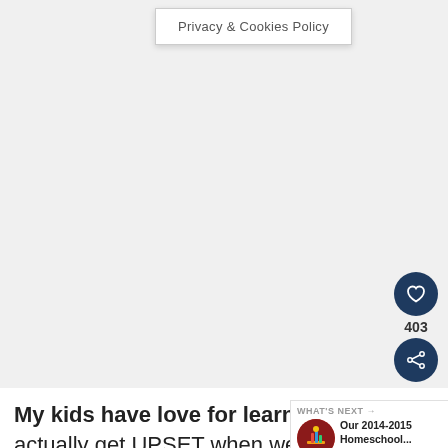Privacy & Cookies Policy
[Figure (other): Large blank/empty content area with light gray background]
[Figure (other): Heart icon button (dark navy circle with white heart) with like count 403 below, and share icon button (dark navy circle with share symbol) below that]
My kids have love for learning. My kid actually get UPSET when we take a and not to school work! At the end of the
[Figure (other): WHAT'S NEXT card with circular thumbnail image of school supplies and text 'Our 2014-2015 Homeschool...']